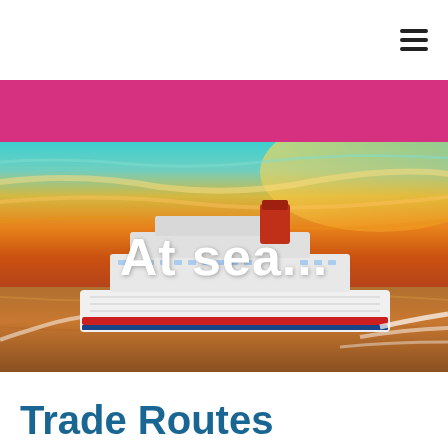[Figure (photo): Pink banner bar followed by a cruise ship sailing on golden-orange sea at sunset with colorful sky, overlaid with the text 'At sea...' in large white bold font]
Trade Routes